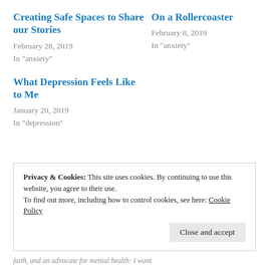Creating Safe Spaces to Share our Stories
February 28, 2019
In "anxiety"
On a Rollercoaster
February 8, 2019
In "anxiety"
What Depression Feels Like to Me
January 20, 2019
In "depression"
Privacy & Cookies: This site uses cookies. By continuing to use this website, you agree to their use.
To find out more, including how to control cookies, see here: Cookie Policy
Close and accept
faith, and an advocate for mental health: I want